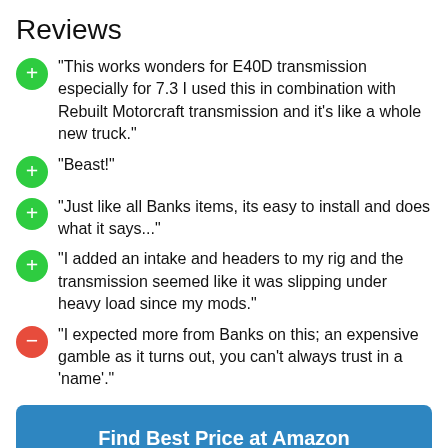Reviews
"This works wonders for E40D transmission especially for 7.3 I used this in combination with Rebuilt Motorcraft transmission and it's like a whole new truck."
"Beast!"
"Just like all Banks items, its easy to install and does what it says..."
"I added an intake and headers to my rig and the transmission seemed like it was slipping under heavy load since my mods."
"I expected more from Banks on this; an expensive gamble as it turns out, you can't always trust in a 'name'."
Find Best Price at Amazon